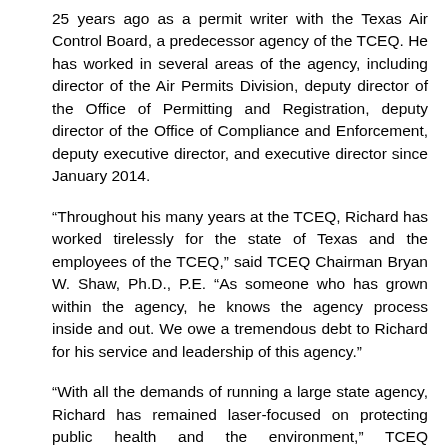25 years ago as a permit writer with the Texas Air Control Board, a predecessor agency of the TCEQ. He has worked in several areas of the agency, including director of the Air Permits Division, deputy director of the Office of Permitting and Registration, deputy director of the Office of Compliance and Enforcement, deputy executive director, and executive director since January 2014.
“Throughout his many years at the TCEQ, Richard has worked tirelessly for the state of Texas and the employees of the TCEQ,” said TCEQ Chairman Bryan W. Shaw, Ph.D., P.E. “As someone who has grown within the agency, he knows the agency process inside and out. We owe a tremendous debt to Richard for his service and leadership of this agency.”
“With all the demands of running a large state agency, Richard has remained laser-focused on protecting public health and the environment,” TCEQ Commissioner Jon Niermann said. “He has approached this mission with excellent judgment and superb leadership. Texans have been fortunate to